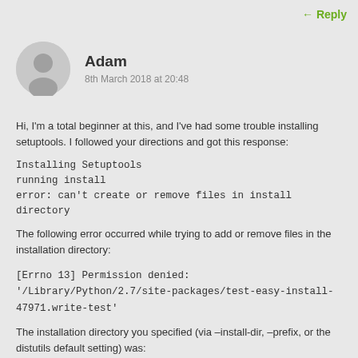← Reply
Adam
8th March 2018 at 20:48
Hi, I'm a total beginner at this, and I've had some trouble installing setuptools. I followed your directions and got this response:
Installing Setuptools
running install
error: can't create or remove files in install directory
The following error occurred while trying to add or remove files in the installation directory:
[Errno 13] Permission denied: '/Library/Python/2.7/site-packages/test-easy-install-47971.write-test'
The installation directory you specified (via –install-dir, –prefix, or the distutils default setting) was:
/Library/Python/2.7/site-packages/
Perhaps your account does not have write access to this directory? If the installation directory is a system-owned directory, you may need to sign in as the administrator or "root" account. If you do not have administrative